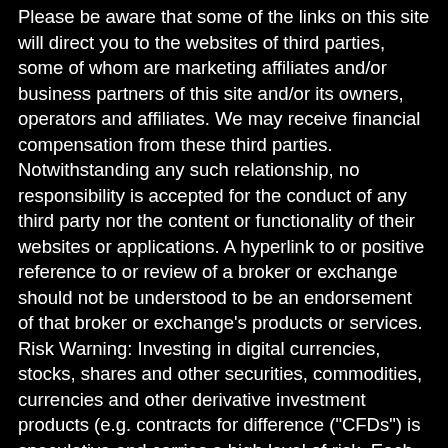Please be aware that some of the links on this site will direct you to the websites of third parties, some of whom are marketing affiliates and/or business partners of this site and/or its owners, operators and affiliates. We may receive financial compensation from these third parties. Notwithstanding any such relationship, no responsibility is accepted for the conduct of any third party nor the content or functionality of their websites or applications. A hyperlink to or positive reference to or review of a broker or exchange should not be understood to be an endorsement of that broker or exchange's products or services. Risk Warning: Investing in digital currencies, stocks, shares and other securities, commodities, currencies and other derivative investment products (e.g. contracts for difference ("CFDs") is speculative and carries a high level of risk. Each investment is unique and involves unique risks. CFDs and other derivatives are complex instruments and come with a high risk of losing money rapidly due to leverage. You should consider whether you understand how an investment works and whether you can afford to take the high risk of losing your money. Cryptocurrencies can fluctuate widely in prices and are, therefore, not appropriate for all investors. Trading cryptocurrencies is not supervised by any EU regulatory